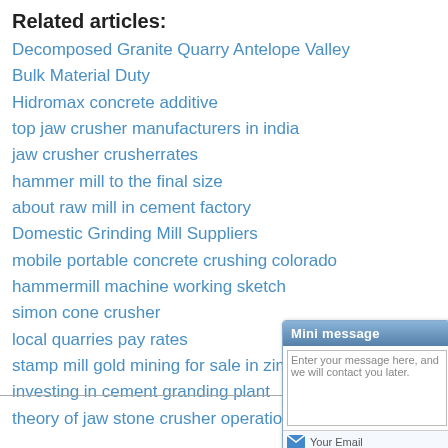Related articles:
Decomposed Granite Quarry Antelope Valley
Bulk Material Duty
Hidromax concrete additive
top jaw crusher manufacturers in india
jaw crusher crusherrates
hammer mill to the final size
about raw mill in cement factory
Domestic Grinding Mill Suppliers
mobile portable concrete crushing colorado
hammermill machine working sketch
simon cone crusher
local quarries pay rates
stamp mill gold mining for sale in zimbabwe
investing in cement granding plant
theory of jaw stone crusher operation
Add: New Technical
[Figure (screenshot): Mini message widget with header, textarea, email field, phone field, and Email Us / Send buttons]